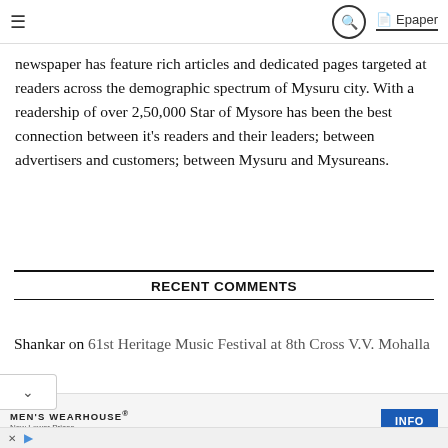≡  🔍  📄 Epaper
newspaper has feature rich articles and dedicated pages targeted at readers across the demographic spectrum of Mysuru city. With a readership of over 2,50,000 Star of Mysore has been the best connection between it's readers and their leaders; between advertisers and customers; between Mysuru and Mysureans.
RECENT COMMENTS
Shankar on 61st Heritage Music Festival at 8th Cross V.V. Mohalla